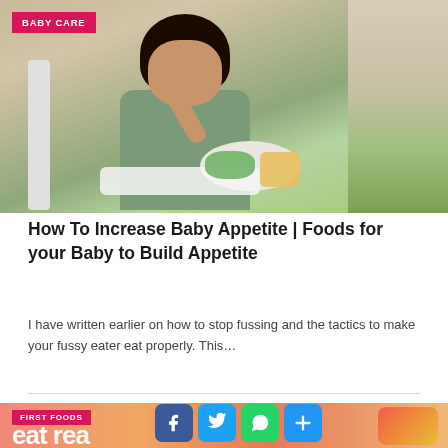[Figure (photo): A toddler sitting in a highchair eating food from a plate, wearing a green graphic t-shirt, outdoors near a wall.]
BABY CARE
How To Increase Baby Appetite | Foods for your Baby to Build Appetite
I have written earlier on how to stop fussing and the tactics to make your fussy eater eat properly. This…
[Figure (photo): Second article card with orange-pink background showing text 'eat rea...' and a FIRST FOODS badge, with social sharing icons overlay (Facebook, Twitter, WhatsApp, More).]
FIRST FOODS